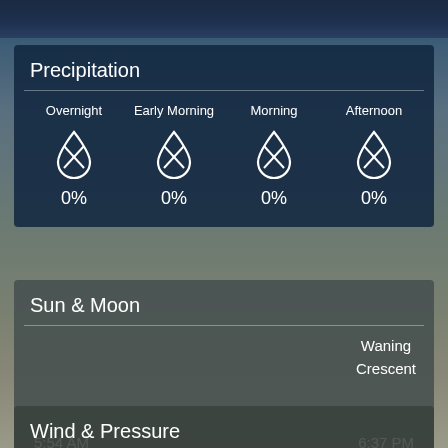Precipitation
| Overnight | Early Morning | Morning | Afternoon |
| --- | --- | --- | --- |
| 0% | 0% | 0% | 0% |
Sun & Moon
Waning Crescent
5:54 AM
6:37 PM
Wind & Pressure